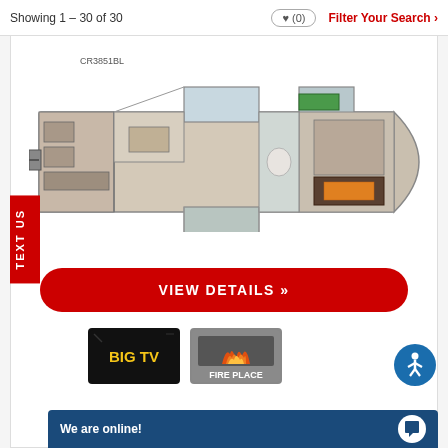Showing 1 – 30 of 30   ♥ (0)   Filter Your Search >
CR3851BL
[Figure (other): RV floor plan diagram for model CR3851BL showing overhead layout of fifth wheel trailer with multiple rooms and slide-outs]
VIEW DETAILS »
[Figure (other): BIG TV feature badge - black rectangle with yellow bold text reading BIG TV]
[Figure (other): FIRE PLACE feature badge - gray rectangle with flame graphic and text FIRE PLACE]
TEXT US
We are online!